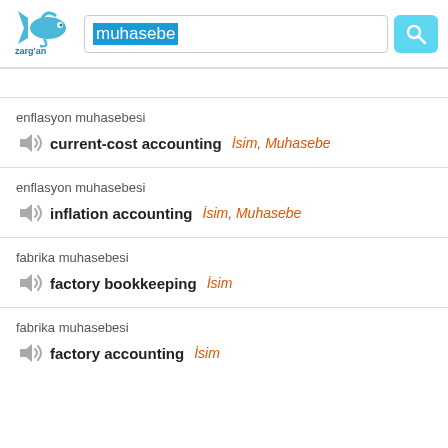[Figure (logo): Zargan dictionary app logo with fish/shark graphic]
muhasebe
enflasyon muhasebesi
current-cost accounting   İsim, Muhasebe
enflasyon muhasebesi
inflation accounting   İsim, Muhasebe
fabrika muhasebesi
factory bookkeeping   İsim
fabrika muhasebesi
factory accounting   İsim